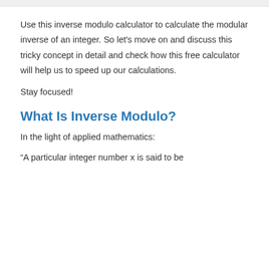Use this inverse modulo calculator to calculate the modular inverse of an integer. So let's move on and discuss this tricky concept in detail and check how this free calculator will help us to speed up our calculations.
Stay focused!
What Is Inverse Modulo?
In the light of applied mathematics:
“A particular integer number x is said to be